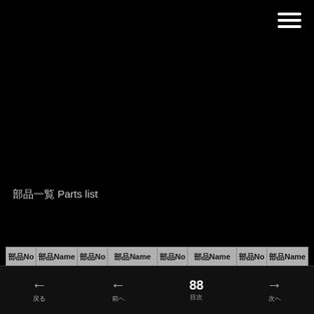[Figure (other): Hamburger menu icon (three horizontal white lines) in top right corner]
部品一覧 Parts list
| 部品No | 部品Name | 部品No | 部品Name | 部品No | 部品Name | 部品No | 部品Name |
| --- | --- | --- | --- | --- | --- | --- | --- |
| 801 | 本体 | 8002 | 本体 | 8010 | 電源コード | 8018 | 固定部品 |
| 802 | 本体 | 8003 | 本体Oリング | 8011 | 本体Vリング | 8019 | 固定部品 |
戻る　前へ　88 目次　次へ